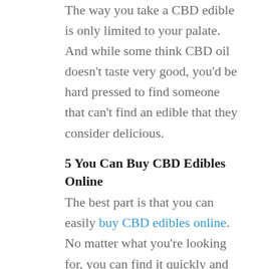The way you take a CBD edible is only limited to your palate. And while some think CBD oil doesn't taste very good, you'd be hard pressed to find someone that can't find an edible that they consider delicious.
5 You Can Buy CBD Edibles Online
The best part is that you can easily buy CBD edibles online. No matter what you're looking for, you can find it quickly and at a competitive price.
These days, buying CBD edibles online is just as easy as ordering groceries online. And we bet you'll find that your CBD order even complements your grocery list.
Just Scratching the Surface
There seem to be endless benefits behind the